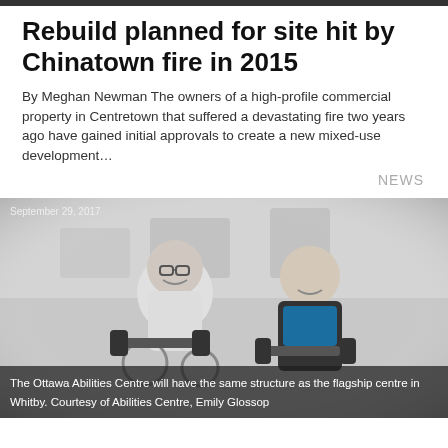Rebuild planned for site hit by Chinatown fire in 2015
By Meghan Newman The owners of a high-profile commercial property in Centretown that suffered a devastating fire two years ago have gained initial approvals to create a new mixed-use development…
NEWS
[Figure (photo): Two men in a gym setting, one in a wheelchair holding dumbbells smiling, the other standing beside him also smiling. Black and white photo. Date overlay reads September 29, 2017.]
The Ottawa Abilities Centre will have the same structure as the flagship centre in Whitby. Courtesy of Abilities Centre, Emily Glossop